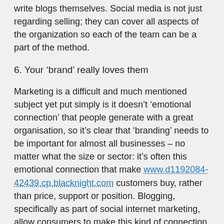write blogs themselves. Social media is not just regarding selling; they can cover all aspects of the organization so each of the team can be a part of the method.
6. Your ‘brand’ really loves them
Marketing is a difficult and much mentioned subject yet put simply is it doesn’t ‘emotional connection’ that people generate with a great organisation, so it’s clear that ‘branding’ needs to be important for almost all businesses – no matter what the size or sector: it’s often this emotional connection that make www.d1192084-42439.cp.blacknight.com customers buy, rather than price, support or position. Blogging, specifically as part of social internet marketing, allow consumers to make this kind of connection as they read information about your company – it could people, the community as much as its merchandise or services.